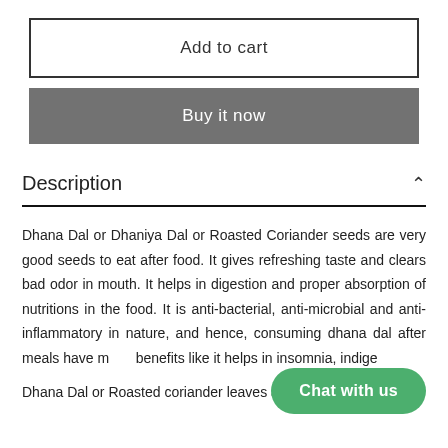Add to cart
Buy it now
Description
Dhana Dal or Dhaniya Dal or Roasted Coriander seeds are very good seeds to eat after food. It gives refreshing taste and clears bad odor in mouth. It helps in digestion and proper absorption of nutritions in the food. It is anti-bacterial, anti-microbial and anti-inflammatory in nature, and hence, consuming dhana dal after meals have many benefits like it helps in insomnia, indige...
Dhana Dal or Roasted coriander leaves are prepared by
Chat with us